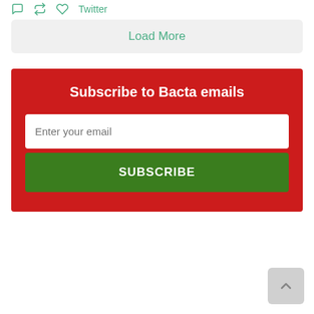[Figure (other): Twitter social icons (comment, retweet, like) followed by Twitter text link in green]
Load More
Subscribe to Bacta emails
Enter your email
SUBSCRIBE
[Figure (other): Scroll to top button with upward chevron arrow, grey rounded rectangle, bottom right corner]